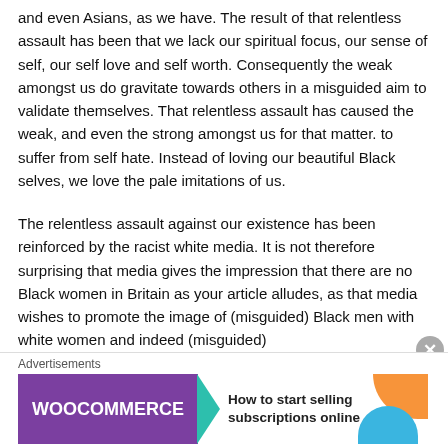and even Asians, as we have. The result of that relentless assault has been that we lack our spiritual focus, our sense of self, our self love and self worth. Consequently the weak amongst us do gravitate towards others in a misguided aim to validate themselves. That relentless assault has caused the weak, and even the strong amongst us for that matter. to suffer from self hate. Instead of loving our beautiful Black selves, we love the pale imitations of us.
The relentless assault against our existence has been reinforced by the racist white media. It is not therefore surprising that media gives the impression that there are no Black women in Britain as your article alludes, as that media wishes to promote the image of (misguided) Black men with white women and indeed (misguided)
Advertisements
[Figure (other): WooCommerce advertisement banner with purple left panel showing WooCommerce logo with teal arrow, and white right panel with text 'How to start selling subscriptions online', orange shape top right, blue shape bottom right.]